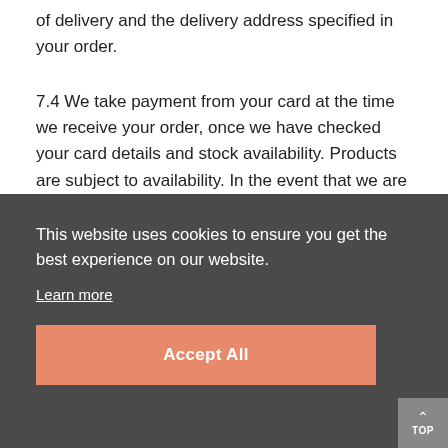of delivery and the delivery address specified in your order.
7.4 We take payment from your card at the time we receive your order, once we have checked your card details and stock availability. Products are subject to availability. In the event that we are unable to supply the Products, we will inform you of this as soon as possible. A full
[Figure (screenshot): Cookie consent banner overlay with dark grey background. Text reads: 'This website uses cookies to ensure you get the best experience on our website.' followed by a 'Learn more' link and an 'Accept All' orange button. A grey 'TOP' button appears bottom-right.]
already sent you a Dispatch Confirmation.